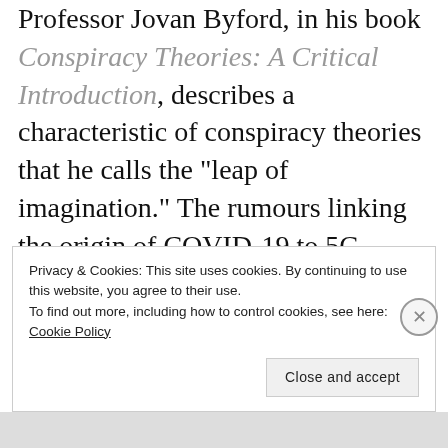Professor Jovan Byford, in his book Conspiracy Theories: A Critical Introduction, describes a characteristic of conspiracy theories that he calls the "leap of imagination." The rumours linking the origin of COVID-19 to 5G telecommunication technology are a prime example.
As it happens, the world is in the middle
Privacy & Cookies: This site uses cookies. By continuing to use this website, you agree to their use.
To find out more, including how to control cookies, see here: Cookie Policy